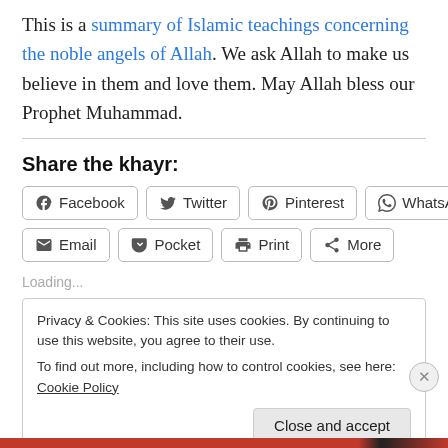This is a summary of Islamic teachings concerning the noble angels of Allah. We ask Allah to make us believe in them and love them. May Allah bless our Prophet Muhammad.
Share the khayr:
Facebook | Twitter | Pinterest | WhatsApp | Email | Pocket | Print | More
Loading...
Privacy & Cookies: This site uses cookies. By continuing to use this website, you agree to their use. To find out more, including how to control cookies, see here: Cookie Policy
Close and accept